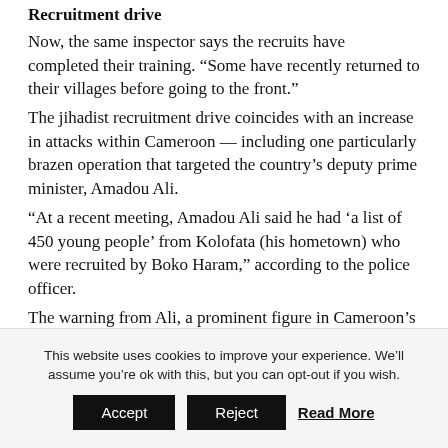Recruitment drive
Now, the same inspector says the recruits have completed their training. “Some have recently returned to their villages before going to the front.”
The jihadist recruitment drive coincides with an increase in attacks within Cameroon — including one particularly brazen operation that targeted the country’s deputy prime minister, Amadou Ali.
“At a recent meeting, Amadou Ali said he had ‘a list of 450 young people’ from Kolofata (his hometown) who were recruited by Boko Haram,” according to the police officer.
The warning from Ali, a prominent figure in Cameroon’s fight against Boko Haram, proved to be a prescient one when militants attacked his home and a number of
This website uses cookies to improve your experience. We’ll assume you’re ok with this, but you can opt-out if you wish.